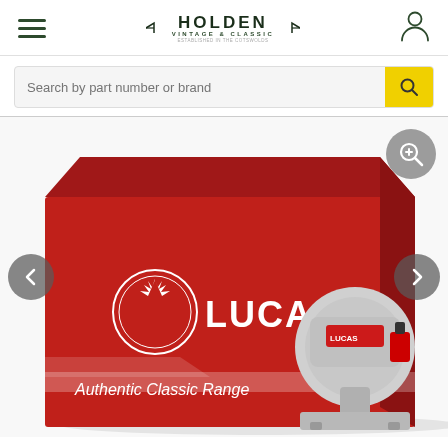Holden Vintage & Classic — navigation header with hamburger menu, logo, and user icon
Search by part number or brand
[Figure (photo): Product photo showing a red Lucas 'Authentic Classic Range' box and a chrome/silver starter motor with red label, on white background. Navigation arrows (prev/next) are visible on the left and right sides of the image. A zoom/magnify button is in the upper right corner of the image.]